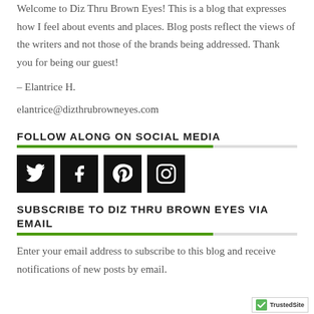Welcome to Diz Thru Brown Eyes! This is a blog that expresses how I feel about events and places. Blog posts reflect the views of the writers and not those of the brands being addressed. Thank you for being our guest!
– Elantrice H.
elantrice@dizthrubrowneyes.com
FOLLOW ALONG ON SOCIAL MEDIA
[Figure (infographic): Four black square social media icons: Twitter, Facebook, Pinterest, Instagram]
SUBSCRIBE TO DIZ THRU BROWN EYES VIA EMAIL
Enter your email address to subscribe to this blog and receive notifications of new posts by email.